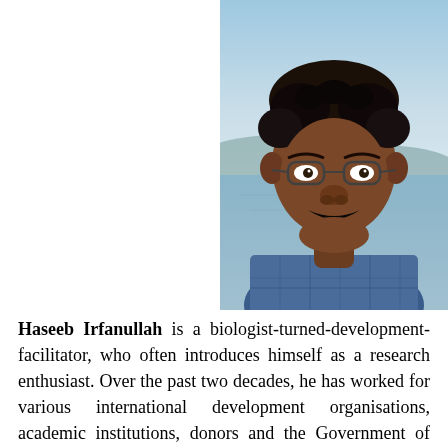[Figure (photo): Portrait photo of Haseeb Irfanullah, a South Asian man with dark curly hair, glasses, and a mustache, wearing a blue plaid shirt, photographed outdoors near water with mountains in the background.]
Haseeb Irfanullah is a biologist-turned-development-facilitator, who often introduces himself as a research enthusiast. Over the past two decades, he has worked for various international development organisations, academic institutions, donors and the Government of Bangladesh in different